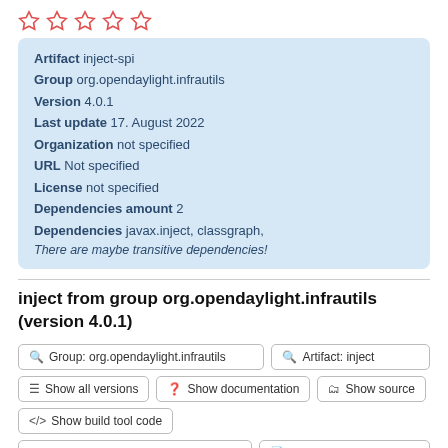[Figure (other): Five empty red star rating icons in a row]
Artifact inject-spi
Group org.opendaylight.infrautils
Version 4.0.1
Last update 17. August 2022
Organization not specified
URL Not specified
License not specified
Dependencies amount 2
Dependencies javax.inject, classgraph,
There are maybe transitive dependencies!
inject from group org.opendaylight.infrautils (version 4.0.1)
Group: org.opendaylight.infrautils
Artifact: inject
Show all versions
Show documentation
Show source
Show build tool code
Download inject.jar (4.0.1)
Add to Project